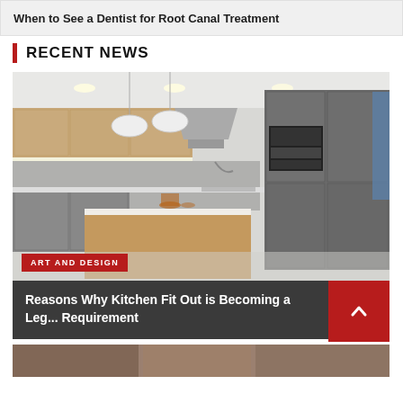When to See a Dentist for Root Canal Treatment
RECENT NEWS
[Figure (photo): Modern kitchen interior with wood-panel island, grey cabinetry, pendant lights, and stainless steel appliances]
ART AND DESIGN
Reasons Why Kitchen Fit Out is Becoming a Leg... Requirement
[Figure (photo): Bottom strip of another image, partially visible]